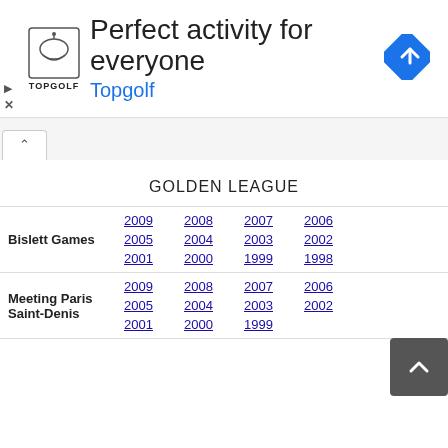[Figure (screenshot): Topgolf advertisement banner: logo, 'Perfect activity for everyone' headline, 'Topgolf' subheading in blue, blue diamond navigation icon]
GOLDEN LEAGUE
| Event | Years |
| --- | --- |
| Bislett Games | 2009 2008 2007 2006 2005 2004 2003 2002 2001 2000 1999 1998 |
| Meeting Paris Saint-Denis | 2009 2008 2007 2006 2005 2004 2003 2002 2001 2000 1999 |